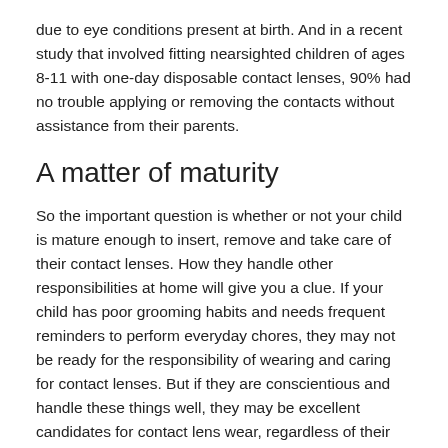due to eye conditions present at birth. And in a recent study that involved fitting nearsighted children of ages 8-11 with one-day disposable contact lenses, 90% had no trouble applying or removing the contacts without assistance from their parents.
A matter of maturity
So the important question is whether or not your child is mature enough to insert, remove and take care of their contact lenses. How they handle other responsibilities at home will give you a clue. If your child has poor grooming habits and needs frequent reminders to perform everyday chores, they may not be ready for the responsibility of wearing and caring for contact lenses. But if they are conscientious and handle these things well, they may be excellent candidates for contact lens wear, regardless of their age.
Contact lenses for sports